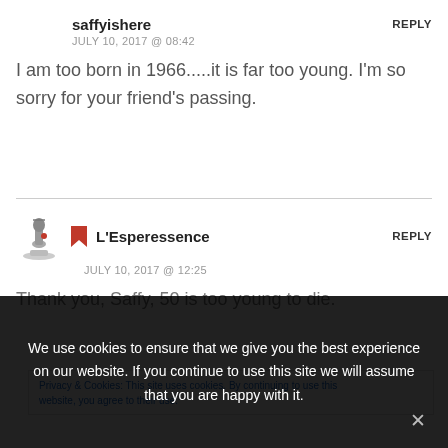saffyishere
JULY 10, 2017 @ 08:42
REPLY
I am too born in 1966.....it is far too young. I'm so sorry for your friend's passing.
L'Esperessence
JULY 10, 2017 @ 12:25
REPLY
Thank you, Saffy, 50 is too young to die.
Privacy & Cookies: This site uses cookies. By continuing to use this website, you agree to their use.
We use cookies to ensure that we give you the best experience on our website. If you continue to use this site we will assume that you are happy with it.